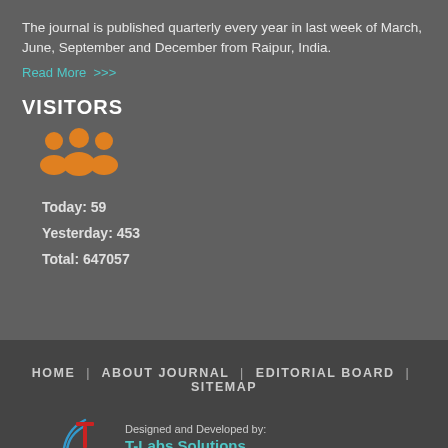The journal is published quarterly every year in last week of March, June, September and December from Raipur, India.
Read More >>>
VISITORS
[Figure (illustration): Orange icon showing group of three people/visitors]
Today: 59
Yesterday: 453
Total: 647057
HOME | ABOUT JOURNAL | EDITORIAL BOARD | SITEMAP
[Figure (logo): T-Labs Solutions logo with stylized T and wifi/signal arcs in red and blue]
Designed and Developed by: T-Labs Solutions